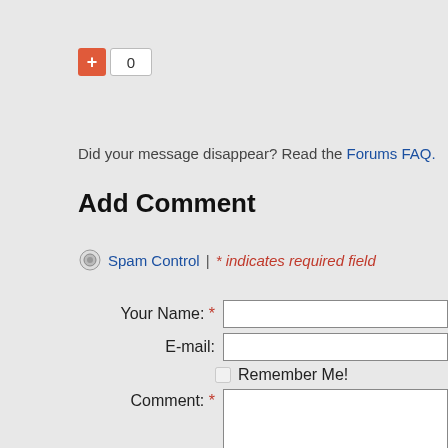[Figure (other): Vote/score widget showing a red plus button and a count of 0]
Did your message disappear? Read the Forums FAQ.
Add Comment
Spam Control | * indicates required field
Your Name: * [text input field]
E-mail: [text input field]
Remember Me! [checkbox]
Comment: * [textarea]
File attachment is optional. Please do not attach a file to your submission unless it is relevent.
Attach File: [Choose File button] No file chosen